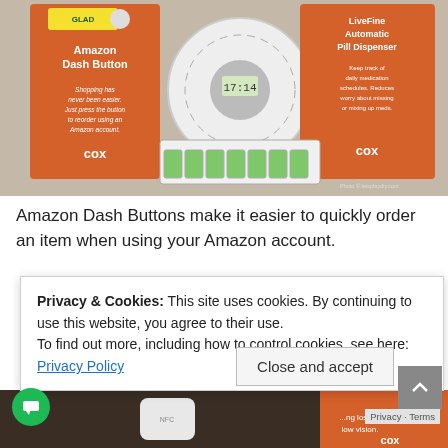[Figure (photo): Photo of Amazon Dash Button and LiveFine Automatic Pill Dispenser products displayed on a granite countertop with Cox branding cards, and a weekly pill organizer. Photo credit: letsplaydiy.com]
Amazon Dash Buttons make it easier to quickly order an item when using your Amazon account.
Privacy & Cookies: This site uses cookies. By continuing to use this website, you agree to their use.
To find out more, including how to control cookies, see here: Privacy Policy
[Figure (photo): Partial view of a second photograph showing IoT/smart home devices on a surface with a Cox branded card visible]